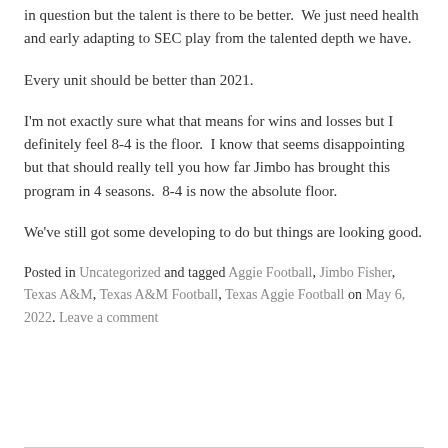in question but the talent is there to be better.  We just need health and early adapting to SEC play from the talented depth we have.
Every unit should be better than 2021.
I'm not exactly sure what that means for wins and losses but I definitely feel 8-4 is the floor.  I know that seems disappointing but that should really tell you how far Jimbo has brought this program in 4 seasons.  8-4 is now the absolute floor.
We've still got some developing to do but things are looking good.
Posted in Uncategorized and tagged Aggie Football, Jimbo Fisher, Texas A&M, Texas A&M Football, Texas Aggie Football on May 6, 2022. Leave a comment